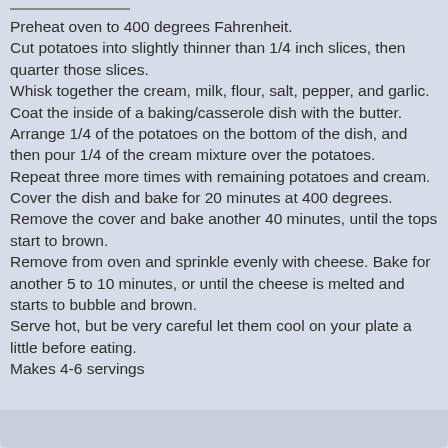Preheat oven to 400 degrees Fahrenheit.
Cut potatoes into slightly thinner than 1/4 inch slices, then quarter those slices.
Whisk together the cream, milk, flour, salt, pepper, and garlic.
Coat the inside of a baking/casserole dish with the butter.
Arrange 1/4 of the potatoes on the bottom of the dish, and then pour 1/4 of the cream mixture over the potatoes.
Repeat three more times with remaining potatoes and cream.
Cover the dish and bake for 20 minutes at 400 degrees.
Remove the cover and bake another 40 minutes, until the tops start to brown.
Remove from oven and sprinkle evenly with cheese. Bake for another 5 to 10 minutes, or until the cheese is melted and starts to bubble and brown.
Serve hot, but be very careful let them cool on your plate a little before eating.
Makes 4-6 servings